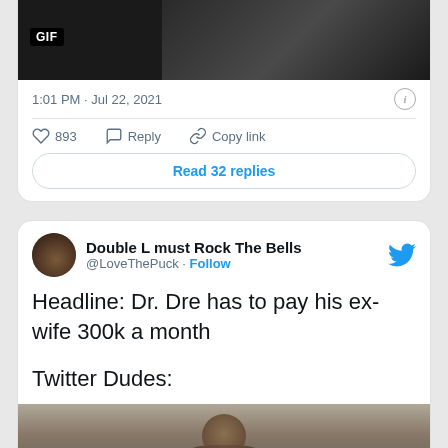[Figure (screenshot): GIF thumbnail showing dark scene from a video]
1:01 PM · Jul 22, 2021
893   Reply   Copy link
Read 32 replies
Double L must Rock The Bells @LoveThePuck · Follow
Headline: Dr. Dre has to pay his ex-wife 300k a month

Twitter Dudes:
[Figure (photo): Man with open mouth expression, indoor setting]